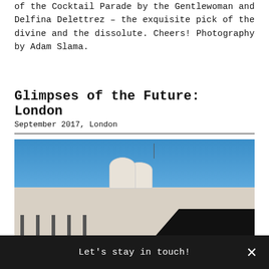of the Cocktail Parade by the Gentlewoman and Delfina Delettrez – the exquisite pick of the divine and the dissolute. Cheers! Photography by Adam Slama.
Glimpses of the Future: London
September 2017, London
[Figure (photo): Exterior view of a modernist white building with cylindrical rooftop structures against a clear blue sky, with a dark shadow in the lower right corner.]
Let's stay in touch!